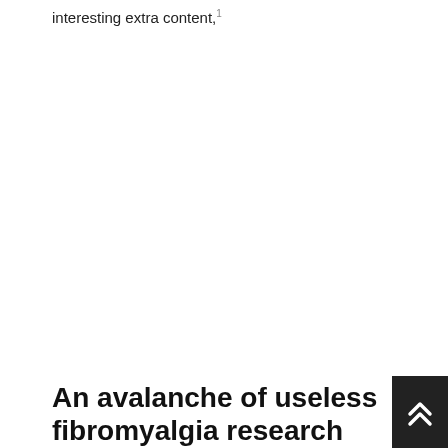interesting extra content,1
An avalanche of useless fibromyalgia research